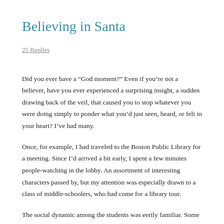Believing in Santa
25 Replies
Did you ever have a “God moment?” Even if you’re not a believer, have you ever experienced a surprising insight, a sudden drawing back of the veil, that caused you to stop whatever you were doing simply to ponder what you’d just seen, heard, or felt in your heart? I’ve had many.
Once, for example, I had traveled to the Boston Public Library for a meeting. Since I’d arrived a bit early, I spent a few minutes people-watching in the lobby. An assortment of interesting characters passed by, but my attention was especially drawn to a class of middle-schoolers, who had come for a library tour.
The social dynamic among the students was eerily familiar. Some were the cool kids, comfortable being the center of attention, which they commanded by their antics. Others, the clear majority, seemed indifferent to their…